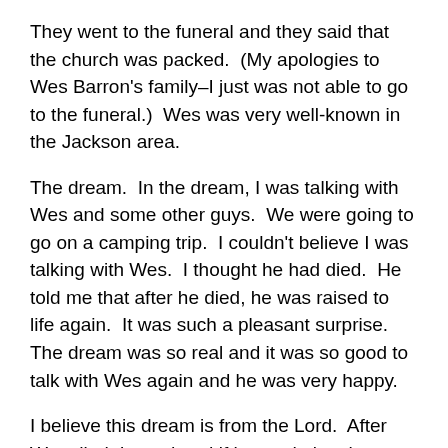They went to the funeral and they said that the church was packed.  (My apologies to Wes Barron's family–I just was not able to go to the funeral.)  Wes was very well-known in the Jackson area.
The dream.  In the dream, I was talking with Wes and some other guys.  We were going to go on a camping trip.  I couldn't believe I was talking with Wes.  I thought he had died.  He told me that after he died, he was raised to life again.  It was such a pleasant surprise.  The dream was so real and it was so good to talk with Wes again and he was very happy.
I believe this dream is from the Lord.  After Wes died, I wondered if he made it to heaven because the Lord had me warn him about his lukewarm Christian friends.  I believe if someone has experienced justification by faith in